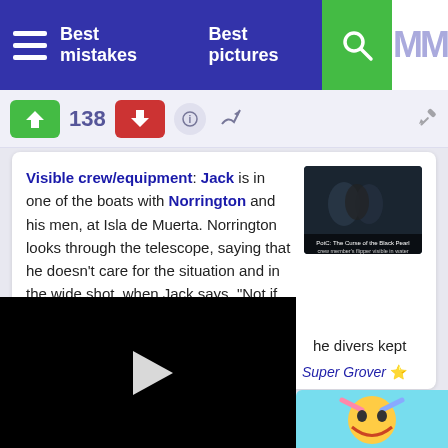Best mistakes   Best pictures
138
Visible crew/equipment: Jack is in one of the boats with Norrington and his men, at Isla de Muerta. Norrington looks through the telescope, saying that he doesn't care for the situation and in the wide shot, when Jack says, "Not if you're the one doing the ambushing," in the water, to the right of the boat, a crew member's green flipper can be seen. The divers kept the
PotC: The Curse of the Black Pearl - crew member's flipper visible in water
[Figure (screenshot): Video player with black background and white play button triangle]
Super Grover ⭐